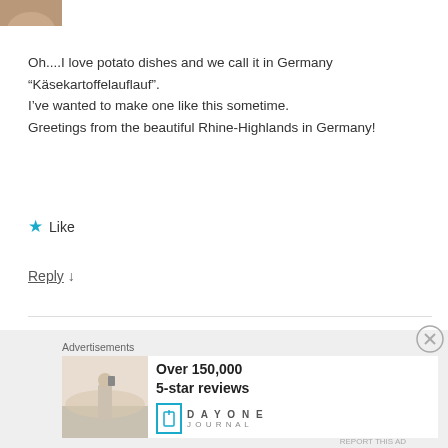[Figure (photo): Partial avatar/profile photo cropped at top left]
Oh....I love potato dishes and we call it in Germany “Käsekartoffelauflauf”.
I’ve wanted to make one like this sometime.
Greetings from the beautiful Rhine-Highlands in Germany!
★ Like
Reply ↓
[Figure (photo): Avatar showing a cupcake with strawberry on top]
nancyc [FOLLOWER] June 8, 2017 at 9:25
Advertisements
[Figure (photo): Advertisement banner: Over 150,000 5-star reviews, Day One Journal app]